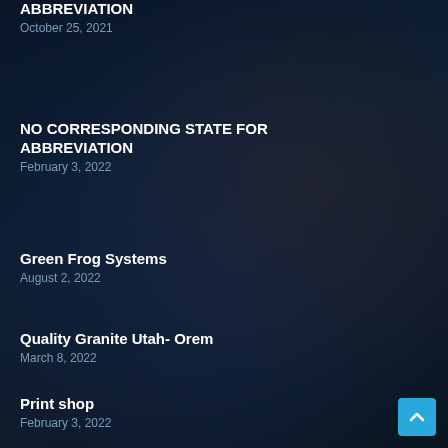NO CORRESPONDING STATE FOR ABBREVIATION
October 25, 2021
NO CORRESPONDING STATE FOR ABBREVIATION
February 3, 2022
Green Frog Systems
August 2, 2022
Quality Granite Utah- Orem
March 8, 2022
Print shop
February 3, 2022